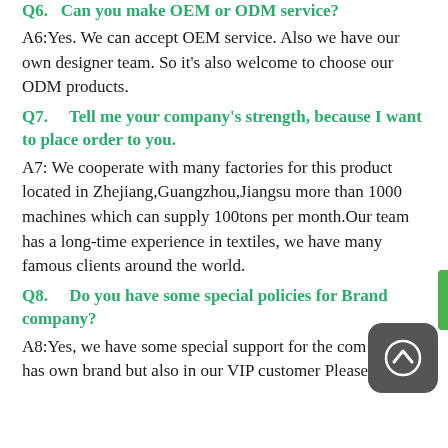Q6. Can you make OEM or ODM service?
A6:Yes. We can accept OEM service. Also we have our own designer team. So it's also welcome to choose our ODM products.
Q7.    Tell me your company's strength, because I want to place order to you.
A7: We cooperate with many factories for this product located in Zhejiang,Guangzhou,Jiangsu more than 1000 machines which can supply 100tons per month.Our team has a long-time experience in textiles, we have many famous clients around the world.
Q8.    Do you have some special policies for Brand company?
A8:Yes, we have some special support for the com who has own brand but also in our VIP customer Please